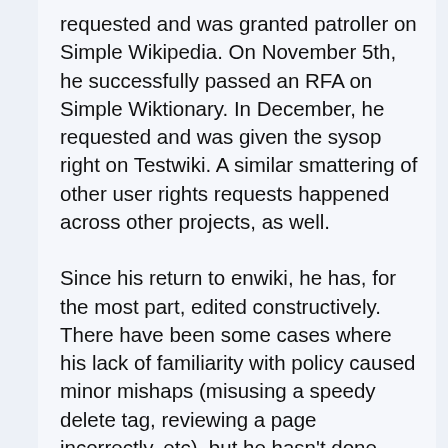requested and was granted patroller on Simple Wikipedia. On November 5th, he successfully passed an RFA on Simple Wiktionary. In December, he requested and was given the sysop right on Testwiki. A similar smattering of other user rights requests happened across other projects, as well.
Since his return to enwiki, he has, for the most part, edited constructively. There have been some cases where his lack of familiarity with policy caused minor mishaps (misusing a speedy delete tag, reviewing a page incorrectly, etc), but he hasn't done anything notably awful. However, almost exactly upon the